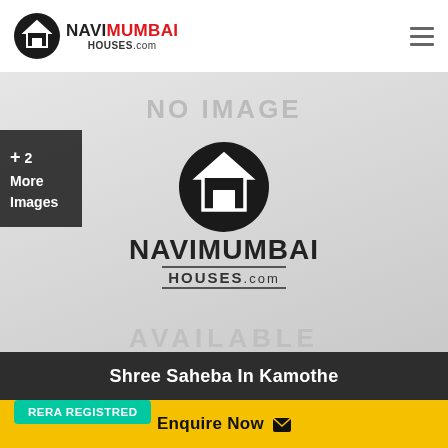[Figure (logo): NaviMumbai Houses.com logo with circular house icon, NAVI in black, MUMBAI in red, HOUSES.com below]
[Figure (photo): No Image placeholder showing NaviMumbai Houses.com watermark logo on grey background with AVAILABLE text, plus +2 More Images overlay]
Shree Saheba In Kamothe
RERA REGISTRED
Enquire Now